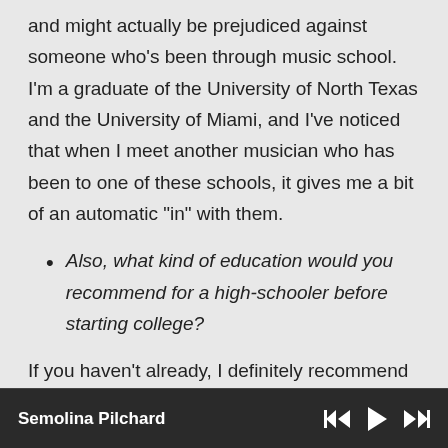and might actually be prejudiced against someone who's been through music school. I'm a graduate of the University of North Texas and the University of Miami, and I've noticed that when I meet another musician who has been to one of these schools, it gives me a bit of an automatic "in" with them.
Also, what kind of education would you recommend for a high-schooler before starting college?
If you haven't already, I definitely recommend finding a knowledgeable private teacher to get you started. If you plan to go to music school
Semolina Pilchard